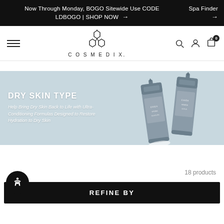Now Through Monday, BOGO Sitewide Use CODE LDBOGO | SHOP NOW → Spa Finder →
[Figure (logo): COSMEDIX logo with hexagonal molecular structure icon and brand name text]
[Figure (photo): Hero banner for Dry Skin Type product collection featuring two grey product tubes on light blue background. Text: DRY SKIN TYPE — Help Bring Dry Skin Back to Life with Ultra-Conditioning Formulas Designed to Restore Hydration to Dry Skin]
18 products
REFINE BY